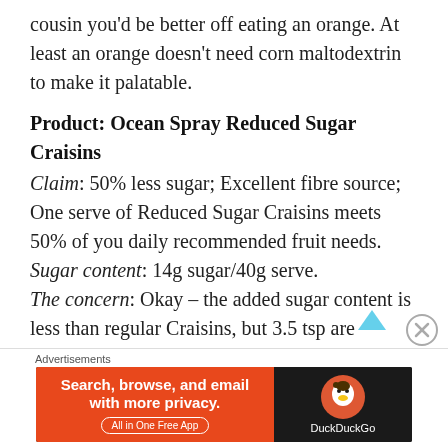cousin you'd be better off eating an orange. At least an orange doesn't need corn maltodextrin to make it palatable.
Product: Ocean Spray Reduced Sugar Craisins
Claim: 50% less sugar; Excellent fibre source; One serve of Reduced Sugar Craisins meets 50% of you daily recommended fruit needs.
Sugar content: 14g sugar/40g serve.
The concern: Okay – the added sugar content is less than regular Craisins, but 3.5 tsp are delivered in one serve, and artificial sweeteners have been added into the mix.
The fibre content has gone up...because a
Advertisements
[Figure (other): DuckDuckGo advertisement banner: Search, browse, and email with more privacy. All in One Free App. DuckDuckGo logo on dark background.]